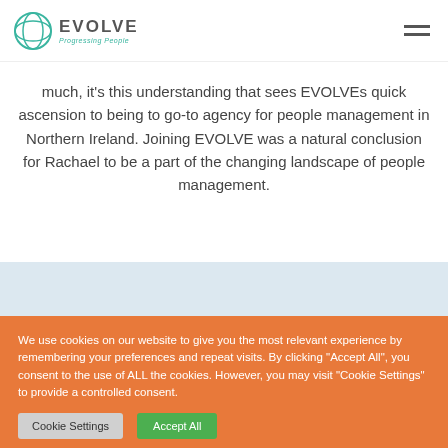EVOLVE — Progressing People
much, it's this understanding that sees EVOLVEs quick ascension to being to go-to agency for people management in Northern Ireland. Joining EVOLVE was a natural conclusion for Rachael to be a part of the changing landscape of people management.
We use cookies on our website to give you the most relevant experience by remembering your preferences and repeat visits. By clicking "Accept All", you consent to the use of ALL the cookies. However, you may visit "Cookie Settings" to provide a controlled consent.